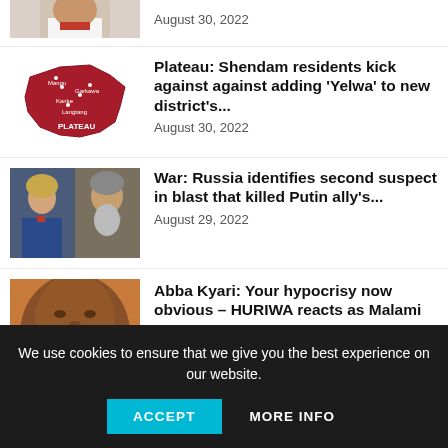[Figure (photo): Partial photo of a person, cropped at top]
August 30, 2022
[Figure (map): Red map of Plateau state, Nigeria]
Plateau: Shendam residents kick against against adding 'Yelwa' to new district's...
August 30, 2022
[Figure (photo): Two-person photo: woman in blue jacket and older man with beard]
War: Russia identifies second suspect in blast that killed Putin ally's...
August 29, 2022
[Figure (photo): Close-up photo of a man's face]
Abba Kyari: Your hypocrisy now obvious – HURIWA reacts as Malami
We use cookies to ensure that we give you the best experience on our website.
ACCEPT
MORE INFO